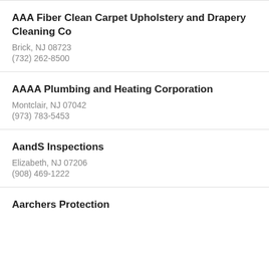AAA Fiber Clean Carpet Upholstery and Drapery Cleaning Co
Brick, NJ 08723
(732) 262-8500
AAAA Plumbing and Heating Corporation
Montclair, NJ 07042
(973) 783-5453
AandS Inspections
Elizabeth, NJ 07206
(908) 469-1222
Aarchers Protection